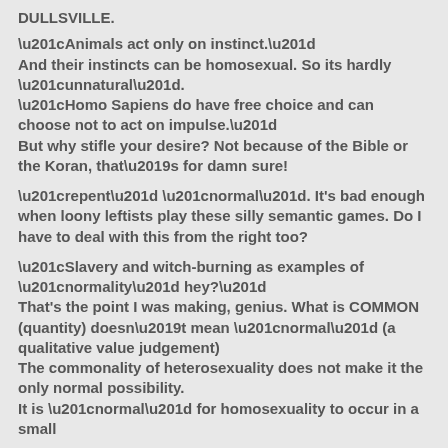DULLSVILLE.
“Animals act only on instinct.”
And their instincts can be homosexual. So its hardly “unnatural”.
“Homo Sapiens do have free choice and can choose not to act on impulse.”
But why stifle your desire? Not because of the Bible or the Koran, that’s for damn sure!
“repent” “normal”. It's bad enough when loony leftists play these silly semantic games. Do I have to deal with this from the right too?
“Slavery and witch-burning as examples of “normality” hey?”
That's the point I was making, genius. What is COMMON (quantity) doesn’t mean “normal” (a qualitative value judgement)
The commonality of heterosexuality does not make it the only normal possibility.
It is “normal” for homosexuality to occur in a small